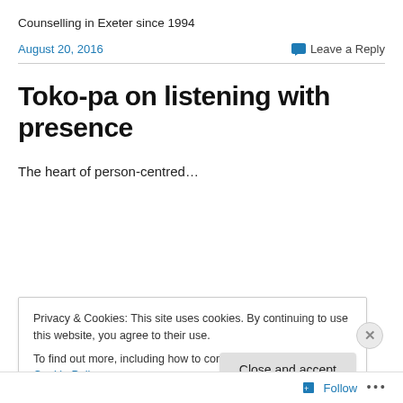Counselling in Exeter since 1994
August 20, 2016    Leave a Reply
Toko-pa on listening with presence
The heart of person-centred…
Privacy & Cookies: This site uses cookies. By continuing to use this website, you agree to their use. To find out more, including how to control cookies, see here: Cookie Policy
Close and accept
Follow ...